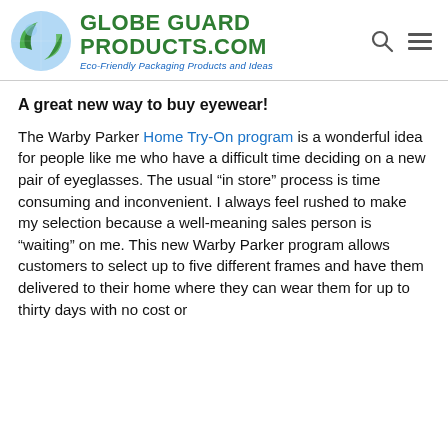Globe Guard Products.com — Eco-Friendly Packaging Products and Ideas
A great new way to buy eyewear!
The Warby Parker Home Try-On program is a wonderful idea for people like me who have a difficult time deciding on a new pair of eyeglasses. The usual “in store” process is time consuming and inconvenient. I always feel rushed to make my selection because a well-meaning sales person is “waiting” on me. This new Warby Parker program allows customers to select up to five different frames and have them delivered to their home where they can wear them for up to thirty days with no cost or